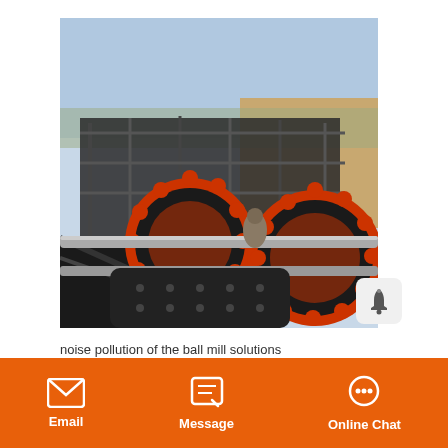[Figure (photo): Outdoor industrial ball mill machinery at a mining site. Large red gear wheels and rotating drum components visible in the foreground, with metal structural framework and conveyor equipment in the background under a clear blue sky. Workers visible in the scene.]
noise pollution of the ball mill solutions
Email | Message | Online Chat